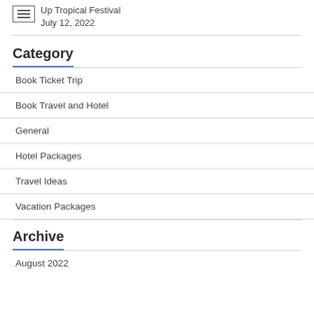Up Tropical Festival
July 12, 2022
Category
Book Ticket Trip
Book Travel and Hotel
General
Hotel Packages
Travel Ideas
Vacation Packages
Archive
August 2022